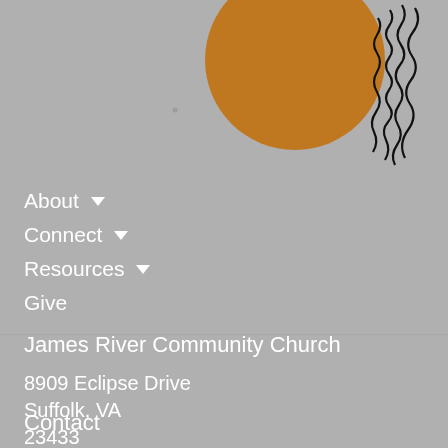[Figure (illustration): Partial logo showing a golden/amber circle (sun) with black wavy lines resembling a face or water reflection, on a gray background]
About ▾
Connect ▾
Resources ▾
Give
James River Community Church
8909 Eclipse Drive
Suffolk, VA
23433
View on Google Maps
Contact